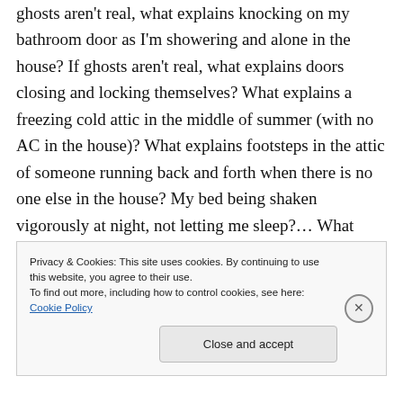ghosts aren't real, what explains knocking on my bathroom door as I'm showering and alone in the house? If ghosts aren't real, what explains doors closing and locking themselves? What explains a freezing cold attic in the middle of summer (with no AC in the house)? What explains footsteps in the attic of someone running back and forth when there is no one else in the house? My bed being shaken vigorously at night, not letting me sleep?… What explains all that? And no. I am not crazy. You won't believe it
Privacy & Cookies: This site uses cookies. By continuing to use this website, you agree to their use.
To find out more, including how to control cookies, see here: Cookie Policy
Close and accept